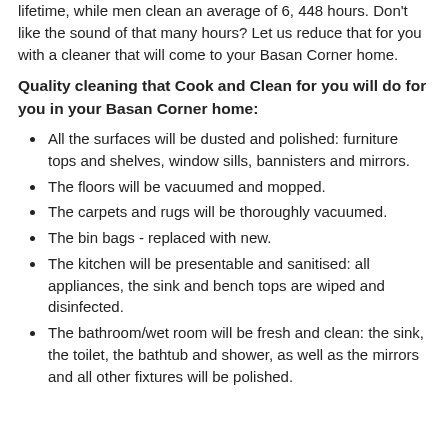lifetime, while men clean an average of 6, 448 hours. Don't like the sound of that many hours? Let us reduce that for you with a cleaner that will come to your Basan Corner home.
Quality cleaning that Cook and Clean for you will do for you in your Basan Corner home:
All the surfaces will be dusted and polished: furniture tops and shelves, window sills, bannisters and mirrors.
The floors will be vacuumed and mopped.
The carpets and rugs will be thoroughly vacuumed.
The bin bags - replaced with new.
The kitchen will be presentable and sanitised: all appliances, the sink and bench tops are wiped and disinfected.
The bathroom/wet room will be fresh and clean: the sink, the toilet, the bathtub and shower, as well as the mirrors and all other fixtures will be polished.